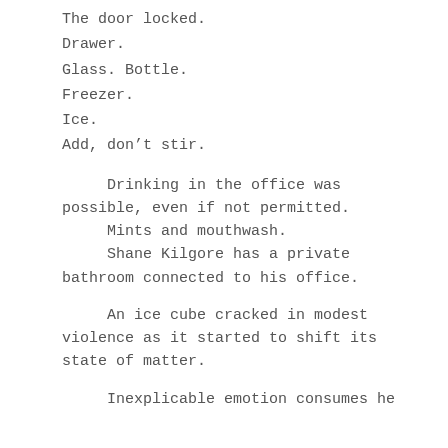The door locked.
Drawer.
Glass. Bottle.
Freezer.
Ice.
Add, don’t stir.
Drinking in the office was possible, even if not permitted.
      Mints and mouthwash.
      Shane Kilgore has a private bathroom connected to his office.
An ice cube cracked in modest violence as it started to shift its state of matter.
Inexplicable emotion consumes he